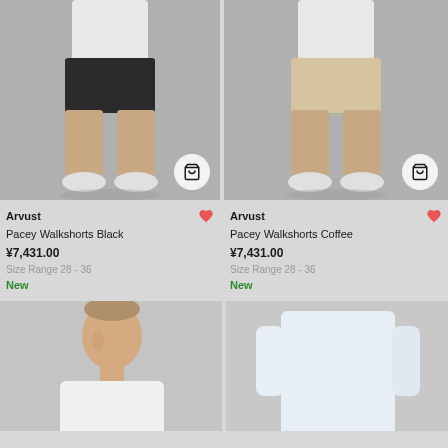[Figure (photo): Model wearing black walk shorts, white t-shirt and white sneakers, cropped to torso and legs]
[Figure (photo): Model wearing coffee/beige walk shorts, white t-shirt and white sneakers, cropped to torso and legs]
Arvust
Pacey Walkshorts Black
¥7,431.00
Size Range 28 - 36
New
Arvust
Pacey Walkshorts Coffee
¥7,431.00
Size Range 28 - 36
New
[Figure (photo): Young man with short hair wearing white t-shirt, upper body cropped]
[Figure (photo): Model wearing light blue/white t-shirt, side view cropped]